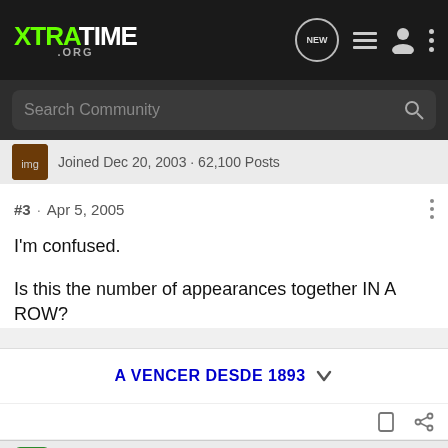XTRATIME .ORG — navigation bar with NEW bubble, list icon, user icon, dots menu
Search Community
Joined Dec 20, 2003 · 62,100 Posts
#3 · Apr 5, 2005
I'm confused.
Is this the number of appearances together IN A ROW?
A VENCER DESDE 1893
Onree · Registered